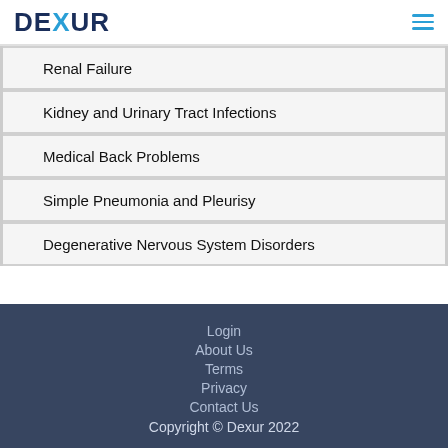DEXUR
Renal Failure
Kidney and Urinary Tract Infections
Medical Back Problems
Simple Pneumonia and Pleurisy
Degenerative Nervous System Disorders
Login
About Us
Terms
Privacy
Contact Us
Copyright © Dexur 2022